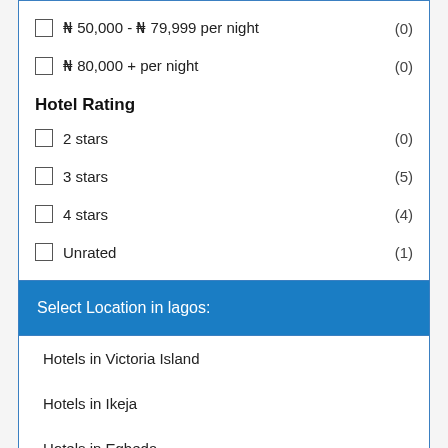₦ 50,000 - ₦ 79,999 per night (0)
₦ 80,000 + per night (0)
Hotel Rating
2 stars (0)
3 stars (5)
4 stars (4)
Unrated (1)
Select Location in lagos:
Hotels in Victoria Island
Hotels in Ikeja
Hotels in Egbeda